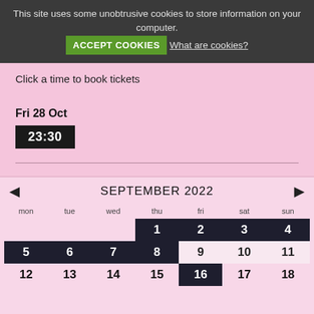This site uses some unobtrusive cookies to store information on your computer. ACCEPT COOKIES What are cookies?
Click a time to book tickets
Fri 28 Oct
23:30
[Figure (other): Calendar showing September 2022 with navigation arrows. Days of week headers: mon, tue, wed, thu, fri, sat, sun. Week 1: 1(dark), 2(dark), 3(dark), 4(dark). Week 2: 5(dark), 6(dark), 7(dark), 8(dark), 9(light), 10(light), 11(light). Week 3: 12, 13, 14, 15, 16(dark), 17, 18.]